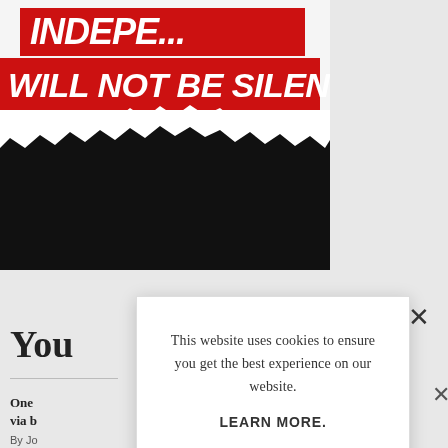[Figure (screenshot): Background webpage with red banner text reading 'WILL NOT BE SILENCED' over a torn paper graphic, with article heading 'You' partially visible and article snippet text 'One... via b...' by 'Jo...']
This website uses cookies to ensure you get the best experience on our website.

LEARN MORE.

ACCEPT COOKIES